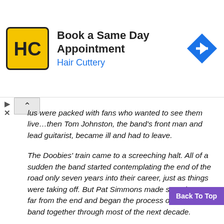[Figure (other): Hair Cuttery advertisement banner with yellow/black HC logo, text 'Book a Same Day Appointment' and 'Hair Cuttery' in blue, and a blue navigation arrow icon on the right]
lus were packed with fans who wanted to see them live…then Tom Johnston, the band's front man and lead guitarist, became ill and had to leave.
The Doobies' train came to a screeching halt. All of a sudden the band started contemplating the end of the road only seven years into their career, just as things were taking off. But Pat Simmons made sure they were far from the end and began the process of keeping the band together through most of the next decade.
A soul-steeped backup singer for Steely Dan named Michael McDonald took a shot at sing some of the Doobies' songs on tour, and all of a